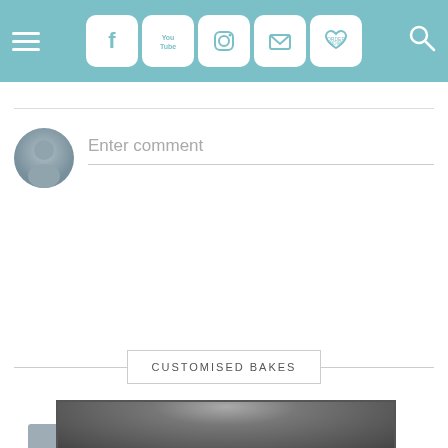[Figure (screenshot): Website navigation bar with teal/cyan background containing a hamburger menu icon on the left, social media icons (Facebook, YouTube, Instagram, Email, Order Now heart) in the center, and a search icon on the right]
Enter comment
Load more...
CUSTOMISED BAKES
[Figure (photo): Partial black and white photo visible at the bottom of the page]